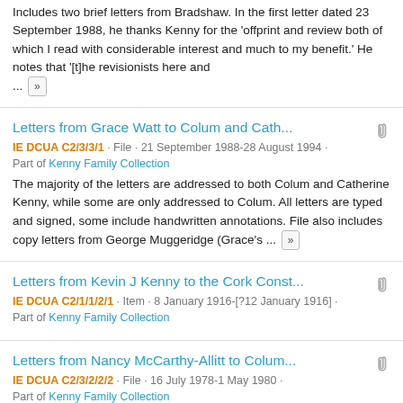Includes two brief letters from Bradshaw. In the first letter dated 23 September 1988, he thanks Kenny for the 'offprint and review both of which I read with considerable interest and much to my benefit.' He notes that '[t]he revisionists here and ...
Letters from Grace Watt to Colum and Cath...
IE DCUA C2/3/3/1 · File · 21 September 1988-28 August 1994 · Part of Kenny Family Collection
The majority of the letters are addressed to both Colum and Catherine Kenny, while some are only addressed to Colum. All letters are typed and signed, some include handwritten annotations. File also includes copy letters from George Muggeridge (Grace's ...
Letters from Kevin J Kenny to the Cork Const...
IE DCUA C2/1/1/2/1 · Item · 8 January 1916-[?12 January 1916] · Part of Kenny Family Collection
Letters from Nancy McCarthy-Allitt to Colum...
IE DCUA C2/3/2/2/2 · File · 16 July 1978-1 May 1980 · Part of Kenny Family Collection